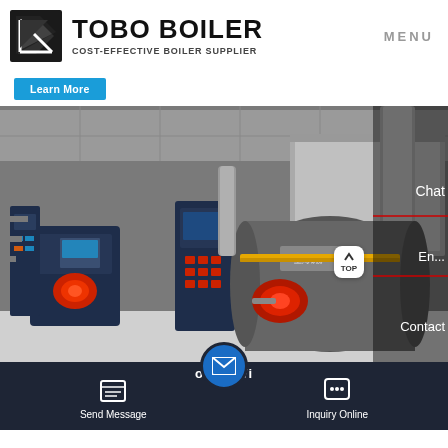TOBO BOILER — COST-EFFECTIVE BOILER SUPPLIER | MENU
Learn More
[Figure (photo): Industrial boiler room showing two large gas-fired boilers with red burners, a control panel in the center, pipes, and ductwork in a factory setting.]
Chat
En...
Contact
os Wi
Send Message
Inquiry Online